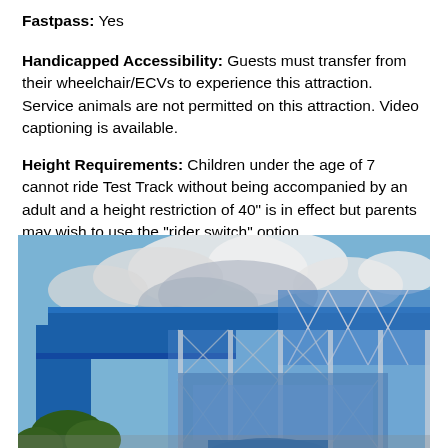Fastpass: Yes
Handicapped Accessibility: Guests must transfer from their wheelchair/ECVs to experience this attraction. Service animals are not permitted on this attraction. Video captioning is available.
Height Requirements: Children under the age of 7 cannot ride Test Track without being accompanied by an adult and a height restriction of 40" is in effect but parents may wish to use the "rider switch" option.
[Figure (photo): Exterior photo of Test Track attraction building showing blue metal structure with scaffolding framework against a partly cloudy sky, with trees visible in the lower left corner.]